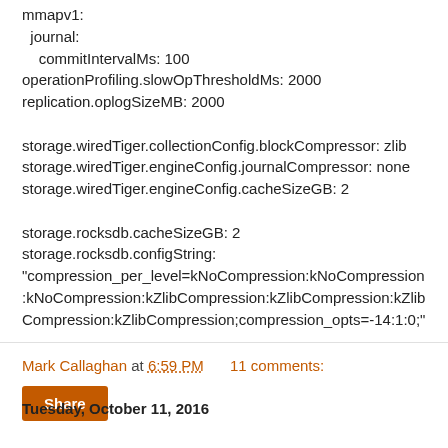mmapv1:
  journal:
    commitIntervalMs: 100
operationProfiling.slowOpThresholdMs: 2000
replication.oplogSizeMB: 2000

storage.wiredTiger.collectionConfig.blockCompressor: zlib
storage.wiredTiger.engineConfig.journalCompressor: none
storage.wiredTiger.engineConfig.cacheSizeGB: 2

storage.rocksdb.cacheSizeGB: 2
storage.rocksdb.configString:
"compression_per_level=kNoCompression:kNoCompression:kNoCompression:kZlibCompression:kZlibCompression:kZlibCompression:kZlibCompression;compression_opts=-14:1:0;"
Mark Callaghan at 6:59 PM    11 comments:
Share
Tuesday, October 11, 2016